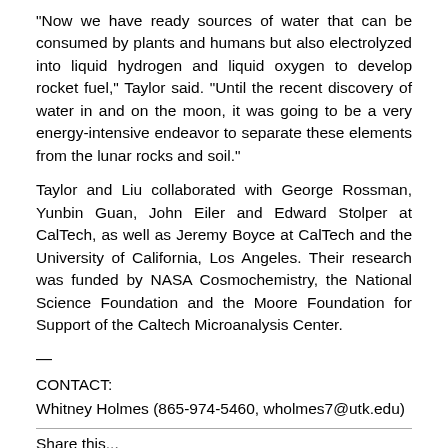“Now we have ready sources of water that can be consumed by plants and humans but also electrolyzed into liquid hydrogen and liquid oxygen to develop rocket fuel,” Taylor said. “Until the recent discovery of water in and on the moon, it was going to be a very energy-intensive endeavor to separate these elements from the lunar rocks and soil.”
Taylor and Liu collaborated with George Rossman, Yunbin Guan, John Eiler and Edward Stolper at CalTech, as well as Jeremy Boyce at CalTech and the University of California, Los Angeles. Their research was funded by NASA Cosmochemistry, the National Science Foundation and the Moore Foundation for Support of the Caltech Microanalysis Center.
—
CONTACT:
Whitney Holmes (865-974-5460, wholmes7@utk.edu)
Share this...